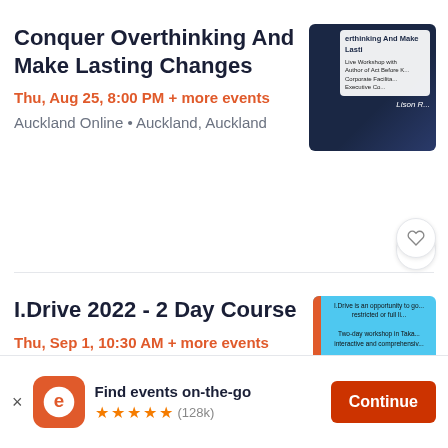Conquer Overthinking And Make Lasting Changes
Thu, Aug 25, 8:00 PM + more events
Auckland Online • Auckland, Auckland
[Figure (photo): Event thumbnail for Conquer Overthinking And Make Lasting Changes - dark blue background with workshop details and Lison branding]
I.Drive 2022 - 2 Day Course
Thu, Sep 1, 10:30 AM + more events
Shore Junction • Auckland, Auckland
[Figure (photo): Event thumbnail for I.Drive 2022 - 2 Day Course - blue background with text about the driving course for people with disability]
Find events on-the-go
★★★★★ (128k)
Continue